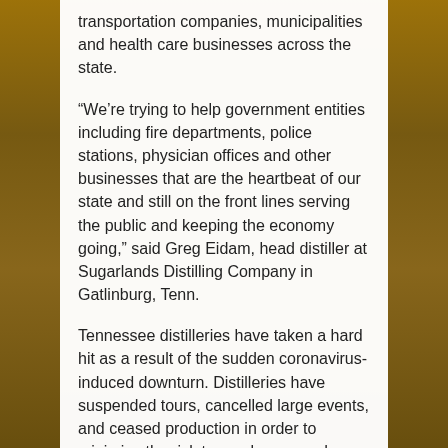transportation companies, municipalities and health care businesses across the state.
“We’re trying to help government entities including fire departments, police stations, physician offices and other businesses that are the heartbeat of our state and still on the front lines serving the public and keeping the economy going,” said Greg Eidam, head distiller at Sugarlands Distilling Company in Gatlinburg, Tenn.
Tennessee distilleries have taken a hard hit as a result of the sudden coronavirus-induced downturn. Distilleries have suspended tours, cancelled large events, and ceased production in order to minimize the risk to employees and guests and further spread of the virus throughout the state.